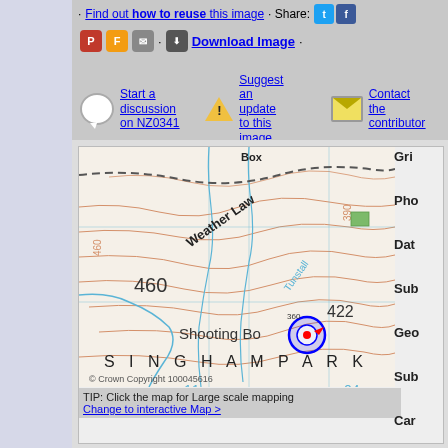Find out how to reuse this image · Share:
Download Image
Start a discussion on NZ0341
Suggest an update to this image
Contact the contributor
[Figure (map): Topographic map showing Weather Law area, Shooting Bog, Singham Park, elevation markers 460 and 422, contour lines, grid overlay, and copyright Crown Copyright 100045616]
TIP: Click the map for Large scale mapping
Change to interactive Map >
Gri
Pho
Dat
Sub
Geo
Sub
Car
Vie